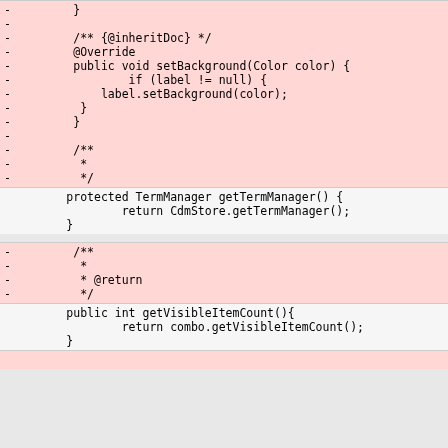Code diff showing removed and unchanged Java code lines for setBackground, getTermManager, and getVisibleItemCount methods